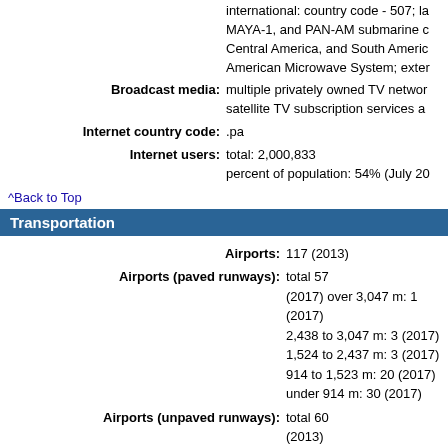international: country code - 507; MAYA-1, and PAN-AM submarine cable Central America, and South America; American Microwave System; exter
Broadcast media: multiple privately owned TV networks satellite TV subscription services a
Internet country code: .pa
Internet users: total: 2,000,833 percent of population: 54% (July 20
^Back to Top
Transportation
Airports: 117 (2013)
Airports (paved runways): total 57 (2017) over 3,047 m: 1 (2017) 2,438 to 3,047 m: 3 (2017) 1,524 to 2,437 m: 3 (2017) 914 to 1,523 m: 20 (2017) under 914 m: 30 (2017)
Airports (unpaved runways): total 60 (2013) 1,524 to 2,437 m: 1 (2013) 914 to 1,523 m: 8 (2013) under 914 m: 51 (2013)
Heliports: 3 (2013)
Pipelines: 128 km oil (2013)
Railways: total 77 km (2014) standard gauge: 77 km 1.4